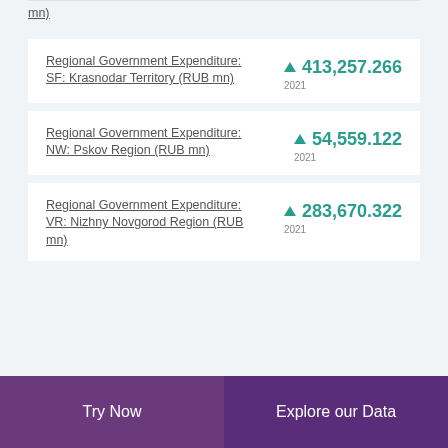...(RUB mn)
Regional Government Expenditure: SF: Krasnodar Territory (RUB mn) — 413,257.266 — 2021
Regional Government Expenditure: NW: Pskov Region (RUB mn) — 54,559.122 — 2021
Regional Government Expenditure: VR: Nizhny Novgorod Region (RUB mn) — 283,670.322 — 2021
Try Now | Explore our Data